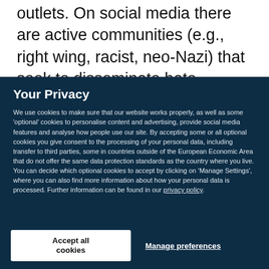outlets. On social media there are active communities (e.g., right wing, racist, neo-Nazi) that seek to disseminate hate messages to their
Your Privacy
We use cookies to make sure that our website works properly, as well as some 'optional' cookies to personalise content and advertising, provide social media features and analyse how people use our site. By accepting some or all optional cookies you give consent to the processing of your personal data, including transfer to third parties, some in countries outside of the European Economic Area that do not offer the same data protection standards as the country where you live. You can decide which optional cookies to accept by clicking on 'Manage Settings', where you can also find more information about how your personal data is processed. Further information can be found in our privacy policy.
Accept all cookies
Manage preferences